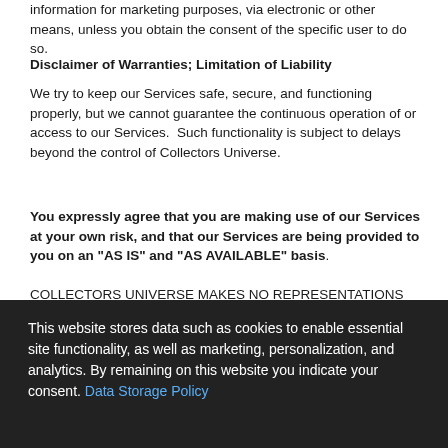information for marketing purposes, via electronic or other means, unless you obtain the consent of the specific user to do so.
Disclaimer of Warranties; Limitation of Liability
We try to keep our Services safe, secure, and functioning properly, but we cannot guarantee the continuous operation of or access to our Services.  Such functionality is subject to delays beyond the control of Collectors Universe.
You expressly agree that you are making use of our Services at your own risk, and that our Services are being provided to you on an "AS IS" and "AS AVAILABLE" basis.
COLLECTORS UNIVERSE MAKES NO REPRESENTATIONS OR WARRANTIES OF ANY KIND, EXPRESS OR IMPLIED, AS TO THE OPERATION OF THE SERVICES OR THE INFORMATION, CONTENT, MATERIALS, OR PRODUCTS INCLUDED AT WWW.COLLECTORS.COM OR AT ANY OTHER WEBSITES OF COLLECTORS UNIVERSE OR ITS SUBSIDIARIES OR DIVISIONS.
This website stores data such as cookies to enable essential site functionality, as well as marketing, personalization, and analytics. By remaining on this website you indicate your consent. Data Storage Policy